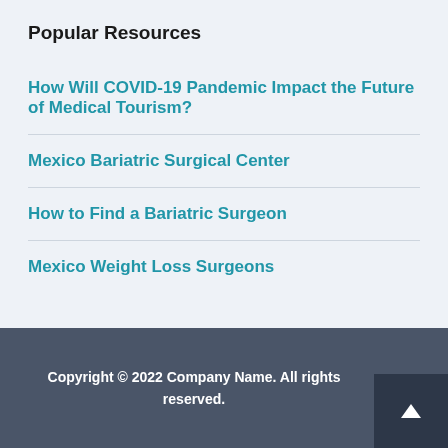Popular Resources
How Will COVID-19 Pandemic Impact the Future of Medical Tourism?
Mexico Bariatric Surgical Center
How to Find a Bariatric Surgeon
Mexico Weight Loss Surgeons
Copyright © 2022 Company Name. All rights reserved.